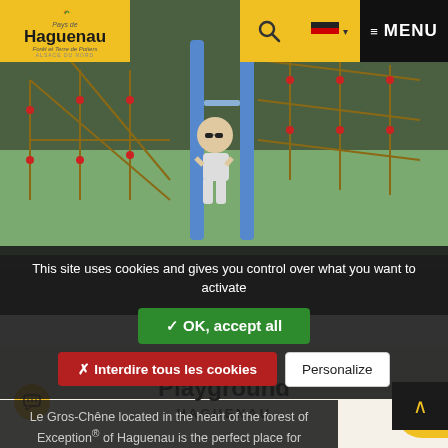[Figure (screenshot): Website screenshot of Pays de Haguenau tourism site showing a child on a playground slide, with navigation header including logo, search icon, German flag language selector, and menu button]
Pays de Haguenau — Forêt et Terre de Potiers — Alsace du Nord | MENU
This site uses cookies and gives you control over what you want to activate
✓ OK, accept all
✗ Interdire tous les cookies
Personalize
Le Gros-Chêne located in the heart of the forest of Exception® of Haguenau is the perfect place for your...
Playground
HAGUENAU